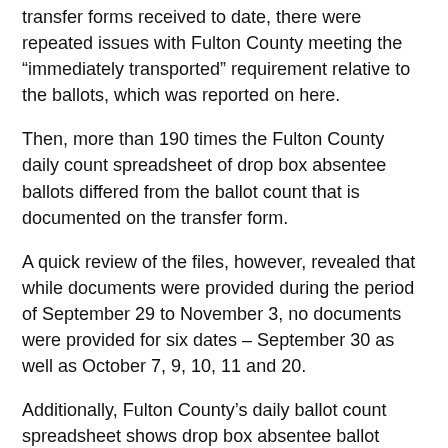transfer forms received to date, there were repeated issues with Fulton County meeting the “immediately transported” requirement relative to the ballots, which was reported on here.
Then, more than 190 times the Fulton County daily count spreadsheet of drop box absentee ballots differed from the ballot count that is documented on the transfer form.
A quick review of the files, however, revealed that while documents were provided during the period of September 29 to November 3, no documents were provided for six dates – September 30 as well as October 7, 9, 10, 11 and 20.
Additionally, Fulton County’s daily ballot count spreadsheet shows drop box absentee ballot counts as early as September 24, which means a small number of transfer forms have also not been provided for the period of September 24 through 28.
This incomplete and inconsistent record of chain of custody